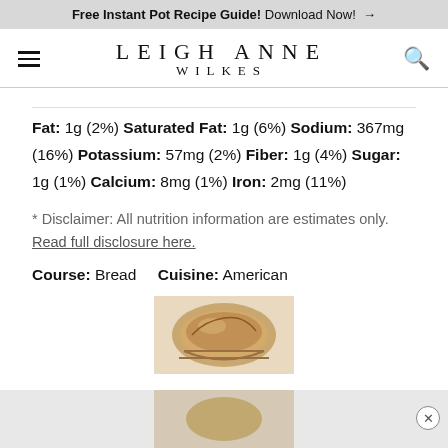Free Instant Pot Recipe Guide! Download Now! →
LEIGH ANNE WILKES
Fat: 1g (2%) Saturated Fat: 1g (6%) Sodium: 367mg (16%) Potassium: 57mg (2%) Fiber: 1g (4%) Sugar: 1g (1%) Calcium: 8mg (1%) Iron: 2mg (11%)
* Disclaimer: All nutrition information are estimates only. Read full disclosure here.
Course: Bread    Cuisine: American
[Figure (photo): Photo of bread in a basket]